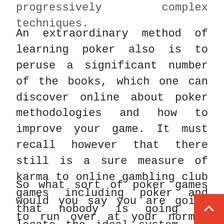progressively complex techniques.
An extraordinary method of learning poker also is to peruse a significant number of the books, which one can discover online about poker methodologies and how to improve your game. It must recall however that there still is a sure measure of karma to online gambling club games including poker and that nobody is going to locate the ideal system. In the event that this were the situation that would positively take all the fervor from the game itself.
So what sort of poker games would you say you are going to run over at your normal online gambling club? One of them will be your fundamental Texas hold them poker and this is the place technique is going to become an integral factor. With some